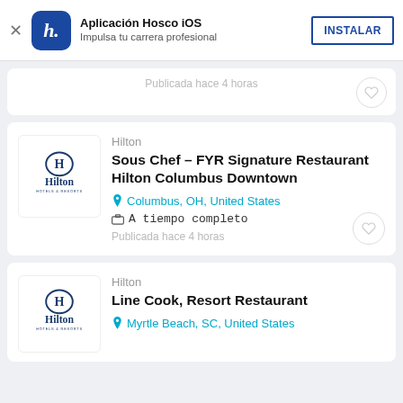Aplicación Hosco iOS — Impulsa tu carrera profesional — INSTALAR
Publicada hace 4 horas
Hilton
Sous Chef – FYR Signature Restaurant Hilton Columbus Downtown
Columbus, OH, United States
A tiempo completo
Publicada hace 4 horas
Hilton
Line Cook, Resort Restaurant
Myrtle Beach, SC, United States